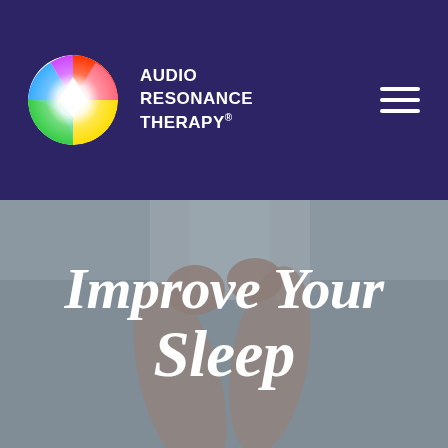[Figure (logo): Audio Resonance Therapy logo: colorful rainbow spectrum circle with white diamond shape in center, on dark navy background, with brand name 'AUDIO RESONANCE THERAPY®' in white bold text to the right, and a hamburger menu icon on the far right]
[Figure (photo): Blurred background photo of a person's arms raised upward, soft muted blue-grey tones, with large white serif italic text overlay reading 'Improve Your Sleep']
Improve Your Sleep